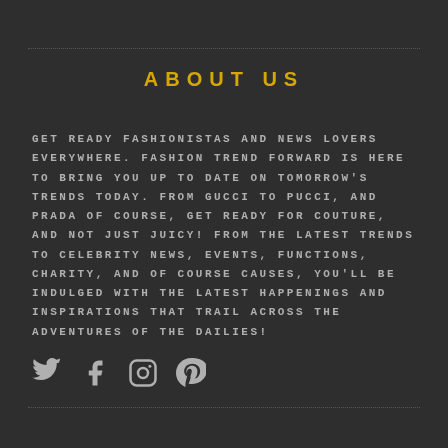ABOUT US
GET READY FASHIONISTAS AND NEWS LOVERS EVERYWHERE. FASHION TREND FORWARD IS HERE TO BRING YOU UP TO DATE ON TOMORROW'S TRENDS TODAY. FROM GUCCI TO PUCCI, AND PRADA OF COURSE, GET READY FOR COUTURE, AND NOT JUST JUICY! FROM THE LATEST TRENDS TO CELEBRITY NEWS, EVENTS, FUNCTIONS, CHARITY, AND OF COURSE CAUSES, YOU'LL BE INDULGED WITH THE LATEST HAPPENINGS AND INSPIRATIONS THAT TRAIL ACROSS THE ADVENTURES OF THE DAILIES!
[Figure (illustration): Social media icons: Twitter bird, Facebook f, Instagram camera, Pinterest p]